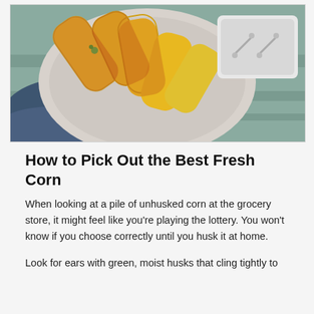[Figure (photo): Overhead shot of grilled corn on the cob with spices on a round ceramic plate, with corn holders in a small white dish, on a teal wooden surface with a blue cloth napkin]
How to Pick Out the Best Fresh Corn
When looking at a pile of unhusked corn at the grocery store, it might feel like you're playing the lottery. You won't know if you choose correctly until you husk it at home.
Look for ears with green, moist husks that cling tightly to